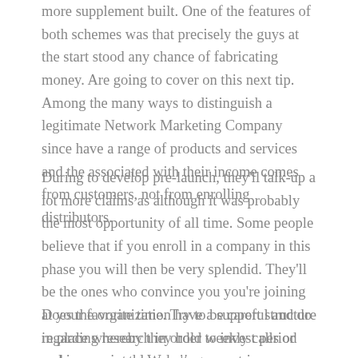more supplement built. One of the features of both schemes was that precisely the guys at the start stood any chance of fabricating money. Are going to cover on this next tip. Among the many ways to distinguish a legitimate Network Marketing Company since have a range of products and services and the associated with their income comes from customers, not from enrolling distributors.
During to develop pre-launch, they'll talk-up a lot more claims as although it was probably the most opportunity of all time. Some people believe that if you enroll in a company in this phase you will then be very splendid. They'll be the ones who convince you you're joining at your favorite time. Try to be careful and do regarding research in order to invest period and money into a Website support company with NO track record of rewards.
Does the organization have a support structure in place whereby they hold weekly calls or webinars, monthly meetings or major weekend events at the 4 times a year that undertake it.